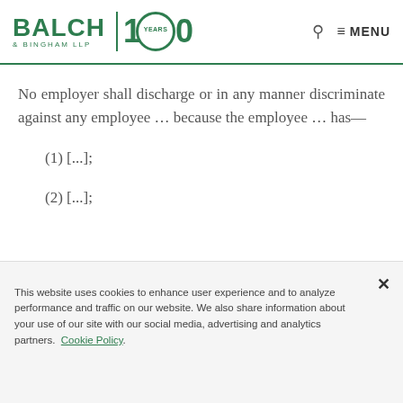BALCH & BINGHAM LLP | 100 YEARS | MENU
No employer shall discharge or in any manner discriminate against any employee … because the employee … has—
(1) [...];
(2) [...];
This website uses cookies to enhance user experience and to analyze performance and traffic on our website. We also share information about your use of our site with our social media, advertising and analytics partners. Cookie Policy